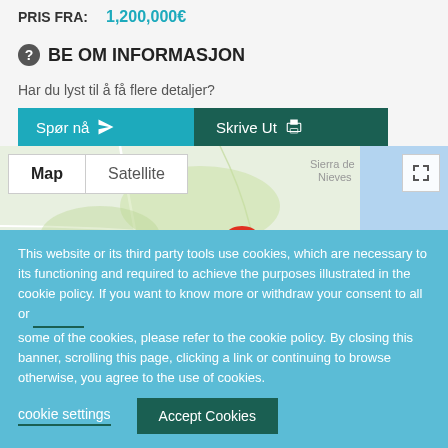PRIS FRA: 1,200,000€
BE OM INFORMASJON
Har du lyst til å få flere detaljer?
[Figure (screenshot): Google Map showing Marbella area with Map/Satellite toggle controls and a red location pin near Marbella. Shows Ubrique, Sierra de Nieves, Fuengirola labels.]
This website or its third party tools use cookies, which are necessary to its functioning and required to achieve the purposes illustrated in the cookie policy. If you want to know more or withdraw your consent to all or some of the cookies, please refer to the cookie policy. By closing this banner, scrolling this page, clicking a link or continuing to browse otherwise, you agree to the use of cookies.
cookie settings
Accept Cookies